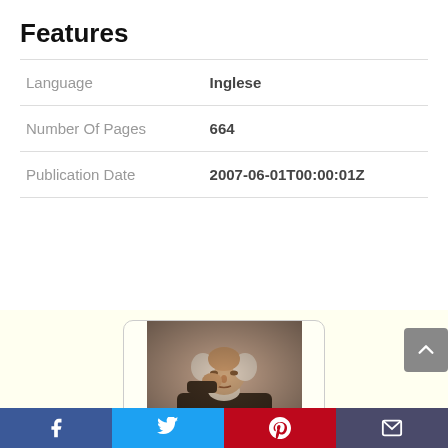Features
| Language | Inglese |
| Number Of Pages | 664 |
| Publication Date | 2007-06-01T00:00:01Z |
[Figure (photo): Sepia-toned vintage portrait photograph of an elderly man leaning forward with his hand near his face, shown inside a rounded-corner card frame on a cream background.]